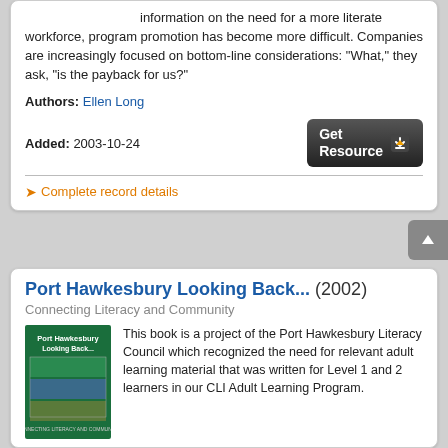information on the need for a more literate workforce, program promotion has become more difficult. Companies are increasingly focused on bottom-line considerations: "What," they ask, "is the payback for us?"
Authors: Ellen Long
Added: 2003-10-24
Complete record details
Port Hawkesbury Looking Back... (2002)
Connecting Literacy and Community
[Figure (illustration): Book cover of Port Hawkesbury Looking Back, green cover with photos]
This book is a project of the Port Hawkesbury Literacy Council which recognized the need for relevant adult learning material that was written for Level 1 and 2 learners in our CLI Adult Learning Program.
For more information : Port Hawkesbury Literacy Council, 218 MacSween Street, Unit 1, Port Hawkesbury, NS B9A 2J9, Tel. (902) 625-1599, Fax (902) 3868, Email : phlc@strait.ednet.ns.ca WWW : http://en.copian.ca/phlc.htm